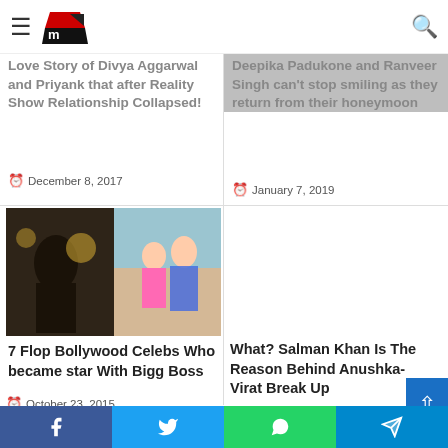www.filmimantra.com navigation bar with hamburger menu and search icon
Love Story of Divya Aggarwal and Priyank that after Reality Show Relationship Collapsed!
December 8, 2017
Deepika Padukone and Ranveer Singh can't stop smiling as they return from their honeymoon
January 7, 2019
[Figure (photo): Two Bollywood celebrities in what appears to be a party or event setting]
7 Flop Bollywood Celebs Who became star With Bigg Boss
October 23, 2015
What? Salman Khan Is The Reason Behind Anushka-Virat Break Up
February 12, 2016